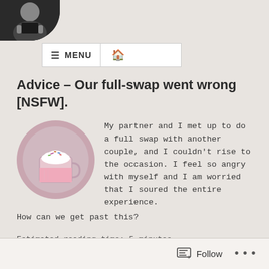[Figure (photo): Circular avatar photo of a person wearing dark clothing, partially visible at top left]
≡ MENU  🏠
Advice – Our full-swap went wrong [NSFW].
[Figure (photo): Circular photo of a pink drink in a glass mug with whipped cream and toppings]
My partner and I met up to do a full swap with another couple, and I couldn't rise to the occasion. I feel so angry with myself and I am worried that I soured the entire experience. How can we get past this?
Estimated reading time: 5 minutes
Follow  ...